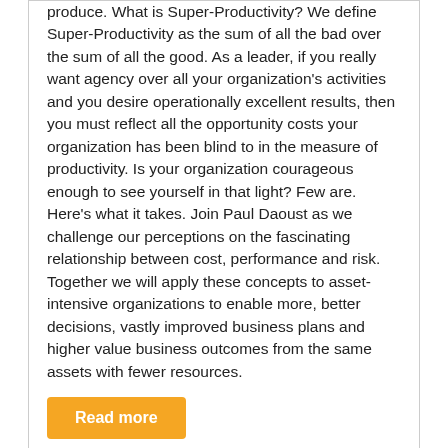produce. What is Super-Productivity? We define Super-Productivity as the sum of all the bad over the sum of all the good. As a leader, if you really want agency over all your organization's activities and you desire operationally excellent results, then you must reflect all the opportunity costs your organization has been blind to in the measure of productivity. Is your organization courageous enough to see yourself in that light? Few are. Here's what it takes. Join Paul Daoust as we challenge our perceptions on the fascinating relationship between cost, performance and risk. Together we will apply these concepts to asset-intensive organizations to enable more, better decisions, vastly improved business plans and higher value business outcomes from the same assets with fewer resources.
Read more
Asset Management implications, how will your organization emerge from